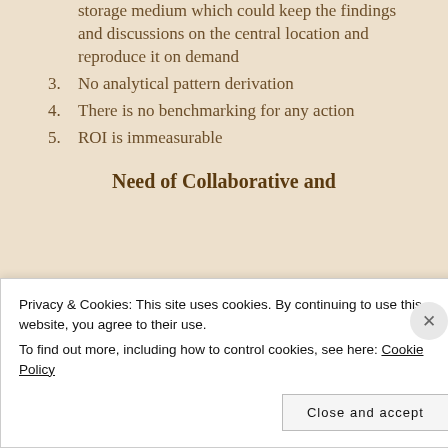storage medium which could keep the findings and discussions on the central location and reproduce it on demand
3. No analytical pattern derivation
4. There is no benchmarking for any action
5. ROI is immeasurable
Need of Collaborative and
Privacy & Cookies: This site uses cookies. By continuing to use this website, you agree to their use.
To find out more, including how to control cookies, see here: Cookie Policy